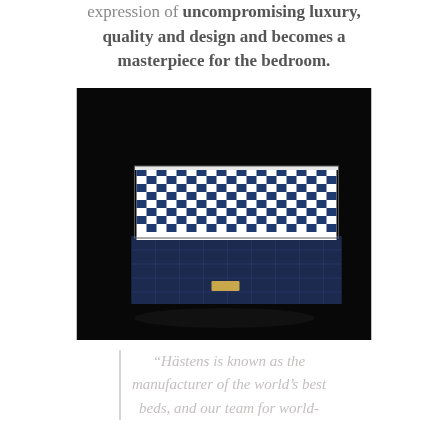expression of uncompromising luxury, quality and design and becomes a masterpiece for the bedroom.
[Figure (photo): A luxury mattress with blue and white checkered/gingham patterned fabric top and dark navy quilted sides, photographed against a black background. A small gold label is visible on the side.]
“Hästens is known as the manufacturer of the world’s best beds, and our team for world-